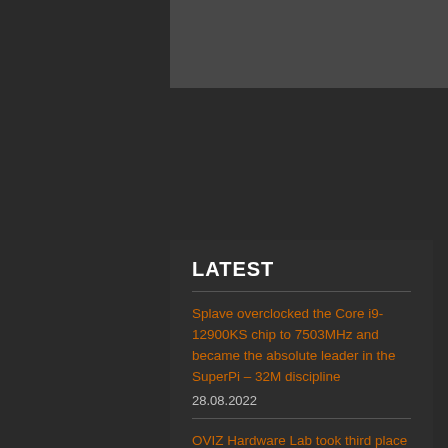[Figure (photo): Dark gray rectangular image area at the top]
LATEST
Splave overclocked the Core i9-12900KS chip to 7503MHz and became the absolute leader in the SuperPi – 32M discipline
28.08.2022
OVIZ Hardware Lab took third place in the dual-chip Radeon HD 5970 graphics card rank
26.08.2022